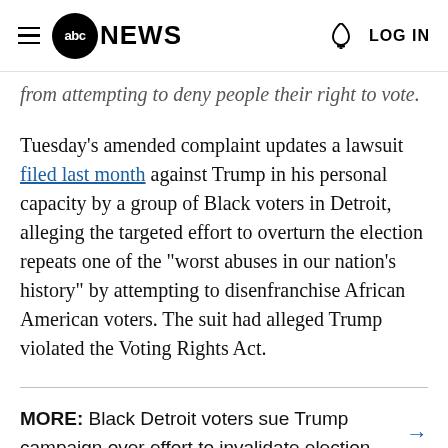abc NEWS  LOG IN
from attempting to deny people their right to vote.
Tuesday's amended complaint updates a lawsuit filed last month against Trump in his personal capacity by a group of Black voters in Detroit, alleging the targeted effort to overturn the election repeats one of the "worst abuses in our nation's history" by attempting to disenfranchise African American voters. The suit had alleged Trump violated the Voting Rights Act.
MORE: Black Detroit voters sue Trump campaign over effort to invalidate election